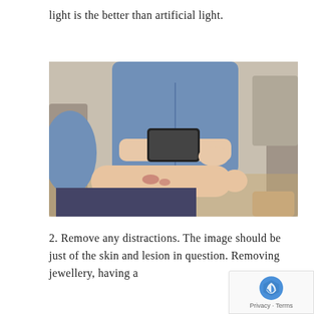light is the better than artificial light.
[Figure (photo): A person in a blue denim shirt using a smartphone to photograph a skin lesion on someone's forearm. The forearm has a visible reddish skin lesion. Both people are seated in grey upholstered chairs. The background shows a wooden floor.]
2. Remove any distractions. The image should be just of the skin and lesion in question. Removing jewellery, having a